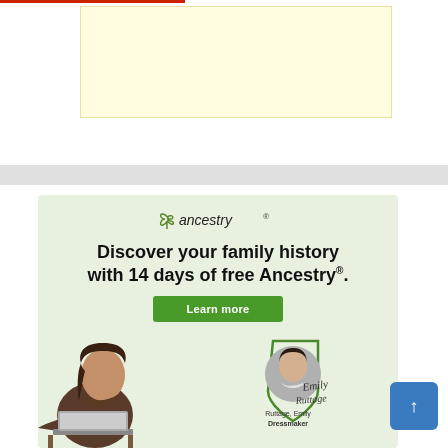[Figure (other): Yellow advertisement placeholder box at the top of the page]
[Figure (infographic): Ancestry.com advertisement with light green background. Shows Ancestry logo, headline 'Discover your family history with 14 days of free Ancestry®.', a green Learn more button, a man using a laptop on the left, and an Emily Ruttage profile badge with cursive signature on the right. Text includes 'Ruttage, Emily' and 'Dressmaker'.]
[Figure (other): Blue scroll-to-top button with upward arrow on right side]